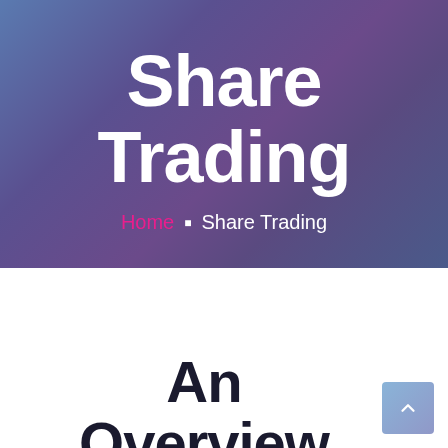Share Trading
Home · Share Trading
An Overview